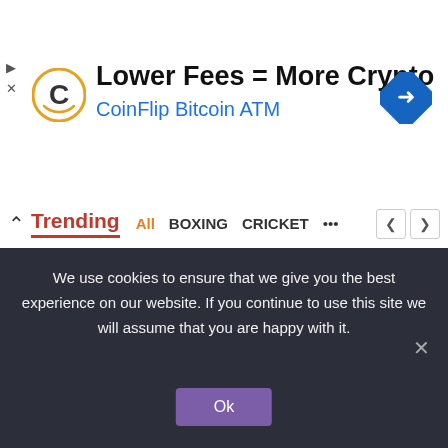[Figure (screenshot): Advertisement banner for CoinFlip Bitcoin ATM. Shows CoinFlip logo (letter C), headline 'Lower Fees = More Crypto', subheadline 'CoinFlip Bitcoin ATM', and a blue diamond-shaped direction arrow icon. Small play and X icons on the left edge.]
[Figure (screenshot): Website navigation bar showing an up arrow, 'Trending' label in red, navigation links: All (orange), BOXING, CRICKET, ellipsis dots, and left/right arrow buttons.]
[Figure (photo): Faded/washed-out photo of a person's face/head, partially visible. Gray and white tones. A red underline bar at the top and gray rectangular placeholder blocks over the image.]
We use cookies to ensure that we give you the best experience on our website. If you continue to use this site we will assume that you are happy with it.
Ok